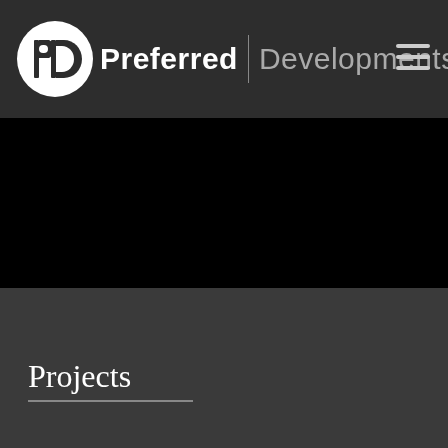Preferred | Developments
[Figure (photo): Black hero/banner image area]
Projects